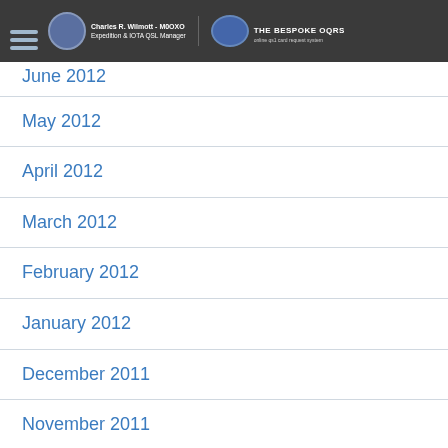Charles R. Wilmott - M0OXO | Expedition & IOTA QSL Manager | THE BESPOKE OQRS
June 2012
May 2012
April 2012
March 2012
February 2012
January 2012
December 2011
November 2011
October 2011
September 2011